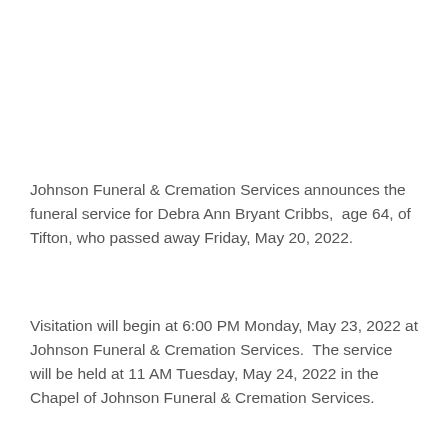Johnson Funeral & Cremation Services announces the funeral service for Debra Ann Bryant Cribbs,  age 64, of Tifton, who passed away Friday, May 20, 2022.
Visitation will begin at 6:00 PM Monday, May 23, 2022 at Johnson Funeral & Cremation Services.  The service will be held at 11 AM Tuesday, May 24, 2022 in the Chapel of Johnson Funeral & Cremation Services.